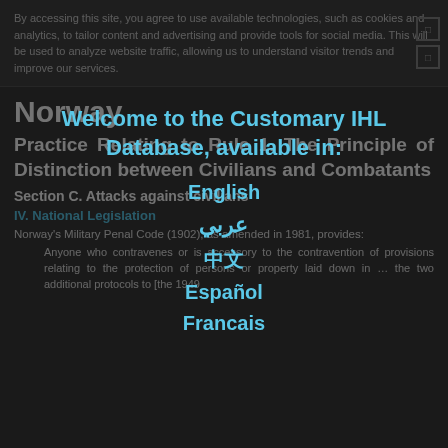By accessing this site, you agree to use available technologies, such as cookies and analytics, to tailor content and advertising and provide tools for social media. This will be used to analyze website traffic, allowing us to understand visitor trends and improve our services.
Norway
Practice Relating to Rule 1. The Principle of Distinction between Civilians and Combatants
Section C. Attacks against civilians
IV. National Legislation
Norway's Military Penal Code (1902), as amended in 1981, provides:
Anyone who contravenes or is accessory to the contravention of provisions relating to the protection of persons or property laid down in ... the two additional protocols to [the 1949
[Figure (infographic): Modal overlay: Welcome to the Customary IHL Database, available in: English, عربي, 中文, Español, Francais]